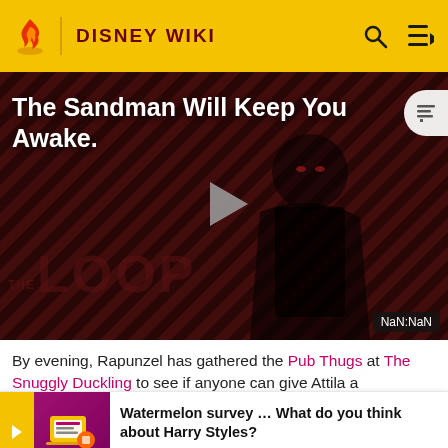DISNEY WIKI
[Figure (screenshot): Video thumbnail for 'The Sandman Will Keep You Awake' with a dark figure on a striped red/black background, THE LOOP watermark, play button, and NaN:NaN timestamp badge]
By evening, Rapunzel has gathered the Pub Thugs at The Snuggly Duckling to see if anyone can give Attila a truthful alibi. However, only Guy can truthfully tell since he is a
[Figure (infographic): Watermelon survey advertisement banner: survey icon image, text 'Watermelon survey … What do you think about Harry Styles? TAKE THE SURVEY HERE']